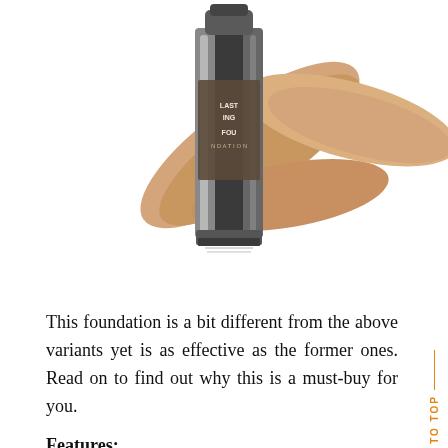[Figure (photo): A cosmetic foundation tube product (metallic silver/dark tube labeled 'LASTING FOUNDATION') shown with beige/tan foundation swatches behind it on a white background.]
This foundation is a bit different from the above variants yet is as effective as the former ones. Read on to find out why this is a must-buy for you.
Features:
Lightweight and breathable: This foundation does not feel heavy on the skin and is very easy to apply as well. If you are not a fan of heavy makeup then this is definitely a